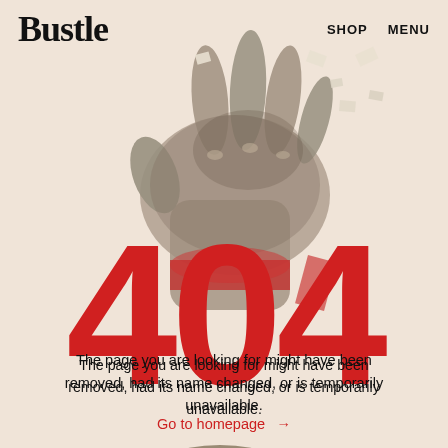Bustle  SHOP  MENU
[Figure (illustration): Black and white grayscale illustration of a hand dropping or scattering small pieces/confetti, overlaid on a soft pinkish-beige background. Below the hand, a crumbled cookie or rock-like object with dark spots.]
404
The page you are looking for might have been removed, had its name changed, or is temporarily unavailable.
Go to homepage →